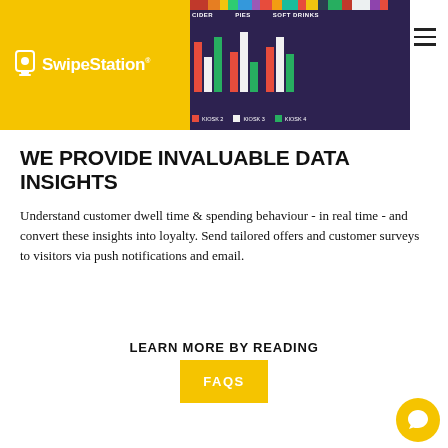[Figure (screenshot): SwipeStation logo on yellow background with dark navigation header showing a bar chart snippet with categories CIDER, PIES, SOFT DRINKS and kiosk legend items (KIOSK 2, KIOSK 3, KIOSK 4) and hamburger menu icon]
WE PROVIDE INVALUABLE DATA INSIGHTS
Understand customer dwell time & spending behaviour - in real time - and convert these insights into loyalty. Send tailored offers and customer surveys to visitors via push notifications and email.
LEARN MORE BY READING
[Figure (other): Yellow button labeled FAQS]
[Figure (other): Yellow circular chat bubble icon at bottom right]